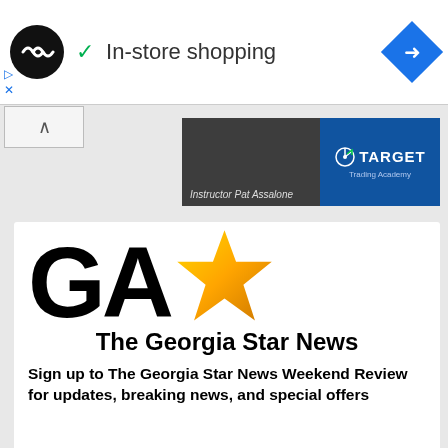[Figure (screenshot): Top ad bar with infinite loop logo, In-store shopping checkmark text, and blue navigation diamond icon]
[Figure (screenshot): Banner advertisement for Target Trading Academy featuring Instructor Pat Assalone]
[Figure (logo): The Georgia Star News logo with large GA letters and gold star]
The Georgia Star News
Sign up to The Georgia Star News Weekend Review for updates, breaking news, and special offers